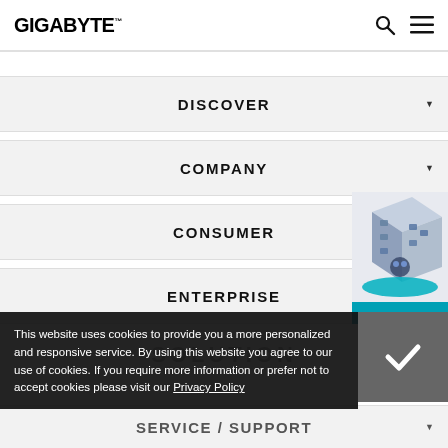GIGABYTE
DISCOVER
COMPANY
CONSUMER
ENTERPRISE
[Figure (illustration): 3D Industry isometric building illustration with '3D INDUSTRY >' label on a teal banner]
SOLUTION
This website uses cookies to provide you a more personalized and responsive service. By using this website you agree to our use of cookies. If you require more information or prefer not to accept cookies please visit our Privacy Policy
SERVICE / SUPPORT